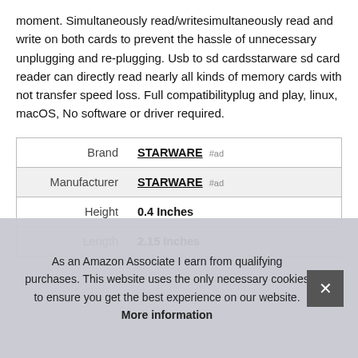moment. Simultaneously read/writesimultaneously read and write on both cards to prevent the hassle of unnecessary unplugging and re-plugging. Usb to sd cardsstarware sd card reader can directly read nearly all kinds of memory cards with not transfer speed loss. Full compatibilityplug and play, linux, macOS, No software or driver required.
| Brand | STARWARE #ad |
| Manufacturer | STARWARE #ad |
| Height | 0.4 Inches |
| Length | 2.15 Inches |
As an Amazon Associate I earn from qualifying purchases. This website uses the only necessary cookies to ensure you get the best experience on our website. More information